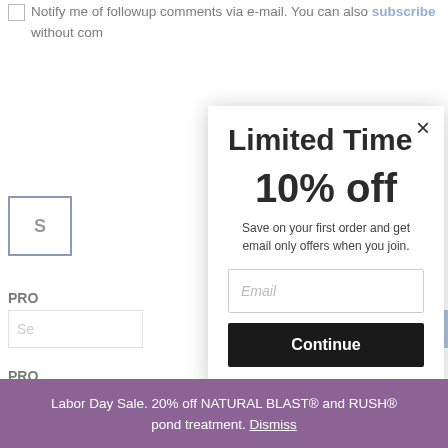Notify me of followup comments via e-mail. You can also subscribe without com…
[Figure (screenshot): Modal popup overlay on a website with close button (×), title 'Limited Time', discount '10% off', description 'Save on your first order and get email only offers when you join.', email input field, and Continue button.]
Limited Time
10% off
Save on your first order and get email only offers when you join.
Email
Continue
Labor Day Sale. 20% off NATURAL BLAST® and RUSH® pond treatment. Dismiss